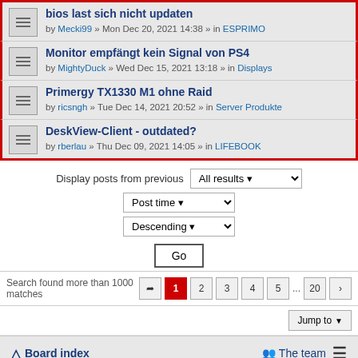bios last sich nicht updaten by Mecki99 » Mon Dec 20, 2021 14:38 » in ESPRIMO
Monitor empfängt kein Signal von PS4 by MightyDuck » Wed Dec 15, 2021 13:18 » in Displays
Primergy TX1330 M1 ohne Raid by ricsngh » Tue Dec 14, 2021 20:52 » in Server Produkte
DeskView-Client - outdated? by rberlau » Thu Dec 09, 2021 14:05 » in LIFEBOOK
Display posts from previous All results
Post time
Descending
Go
Search found more than 1000 matches 1 2 3 4 5 ... 20 >
Jump to
Board index The team
Powered by phpBB® Forum Software © phpBB Limited